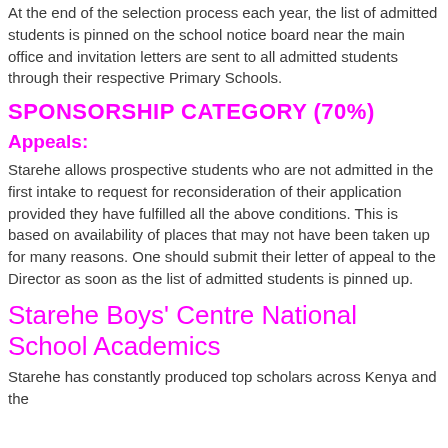At the end of the selection process each year, the list of admitted students is pinned on the school notice board near the main office and invitation letters are sent to all admitted students through their respective Primary Schools.
SPONSORSHIP CATEGORY (70%)
Appeals:
Starehe allows prospective students who are not admitted in the first intake to request for reconsideration of their application provided they have fulfilled all the above conditions. This is based on availability of places that may not have been taken up for many reasons. One should submit their letter of appeal to the Director as soon as the list of admitted students is pinned up.
Starehe Boys' Centre National School Academics
Starehe has constantly produced top scholars across Kenya and the